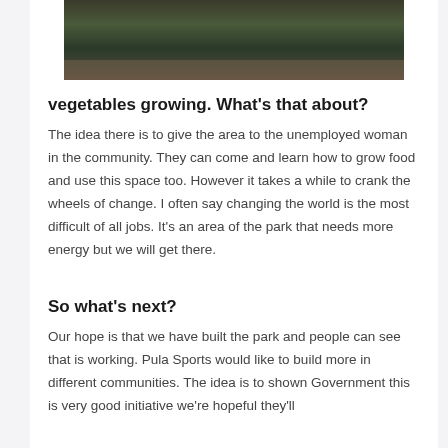[Figure (photo): Photo of a decorated planter or raised garden bed with vegetables growing, featuring colorful hand-painted designs on the outside rim.]
vegetables growing. What’s that about?
The idea there is to give the area to the unemployed woman in the community. They can come and learn how to grow food and use this space too. However it takes a while to crank the wheels of change. I often say changing the world is the most difficult of all jobs. It’s an area of the park that needs more energy but we will get there.
So what’s next?
Our hope is that we have built the park and people can see that is working. Pula Sports would like to build more in different communities. The idea is to shown Government this is very good initiative we’re hopeful they’ll...